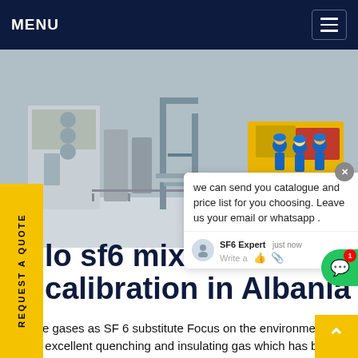MENU
[Figure (photo): Industrial electrical substation scene with workers in blue coveralls and hard hats next to a yellow truck and electrical equipment in winter/snowy conditions.]
we can send you catalogue and price list for you choosing. Leave us your email or whatsapp .
SF6 Expert   just now
Write a
REQUEST A QUOTE
lo sf6 mixture calibration in Albania
ernative gases as SF 6 substitute Focus on the environment. SF 6 is an excellent quenching and insulating gas which has been used in the energy sector worldwide for more than 50 years. The energy related development in the high and extra